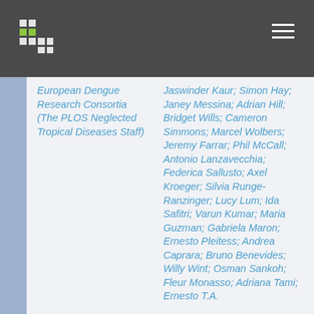PLOS Neglected Tropical Diseases
European Dengue Research Consortia (The PLOS Neglected Tropical Diseases Staff)
Jaswinder Kaur; Simon Hay; Janey Messina; Adrian Hill; Bridget Wills; Cameron Simmons; Marcel Wolbers; Jeremy Farrar; Phil McCall; Antonio Lanzavecchia; Federica Sallusto; Axel Kroeger; Silvia Runge-Ranzinger; Lucy Lum; Ida Safitri; Varun Kumar; Maria Guzman; Gabriela Maron; Ernesto Pleitess; Andrea Caprara; Bruno Benevides; Willy Wint; Osman Sankoh; Fleur Monasso; Adriana Tami; Ernesto T.A.